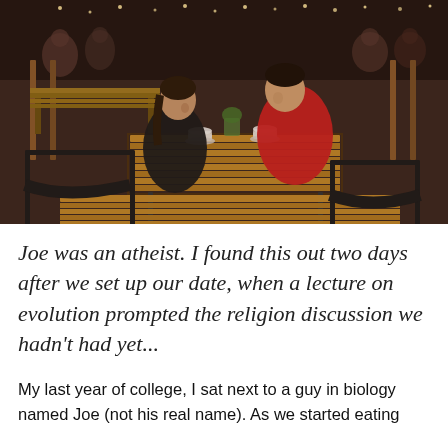[Figure (photo): Photo of a man and woman sitting across from each other at an outdoor café or restaurant patio, with wooden slatted tables and chairs, string lights, and a busy background of other diners.]
Joe was an atheist. I found this out two days after we set up our date, when a lecture on evolution prompted the religion discussion we hadn't had yet...
My last year of college, I sat next to a guy in biology named Joe (not his real name). As we started eating